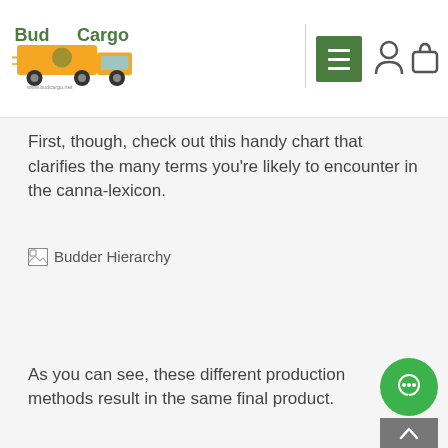BudCargo — navigation bar with logo, hamburger menu, account icon, bag icon
First, though, check out this handy chart that clarifies the many terms you're likely to encounter in the canna-lexicon.
[Figure (other): Broken image placeholder labeled 'Budder Hierarchy']
As you can see, these different production methods result in the same final product.